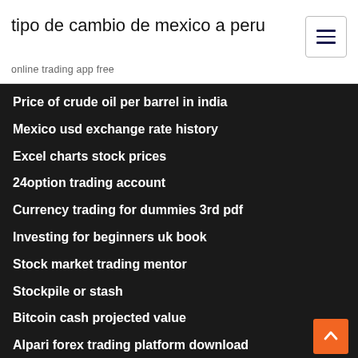tipo de cambio de mexico a peru
online trading app free
Price of crude oil per barrel in india
Mexico usd exchange rate history
Excel charts stock prices
24option trading account
Currency trading for dummies 3rd pdf
Investing for beginners uk book
Stock market trading mentor
Stockpile or stash
Bitcoin cash projected value
Alpari forex trading platform download